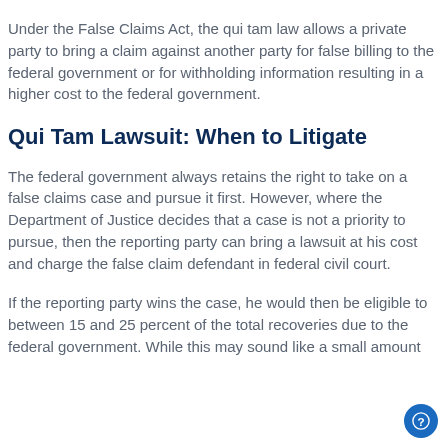Under the False Claims Act, the qui tam law allows a private party to bring a claim against another party for false billing to the federal government or for withholding information resulting in a higher cost to the federal government.
Qui Tam Lawsuit: When to Litigate
The federal government always retains the right to take on a false claims case and pursue it first. However, where the Department of Justice decides that a case is not a priority to pursue, then the reporting party can bring a lawsuit at his cost and charge the false claim defendant in federal civil court.
If the reporting party wins the case, he would then be eligible to between 15 and 25 percent of the total recoveries due to the federal government. While this may sound like a small amount